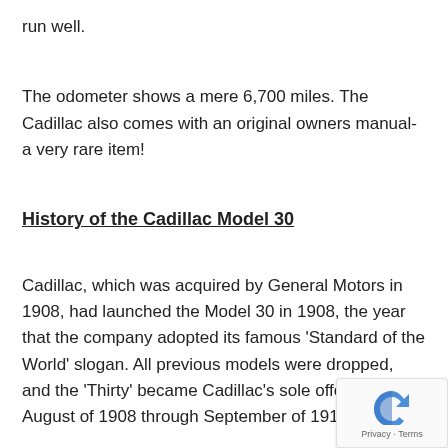run well.
The odometer shows a mere 6,700 miles. The Cadillac also comes with an original owners manual- a very rare item!
History of the Cadillac Model 30
Cadillac, which was acquired by General Motors in 1908, had launched the Model 30 in 1908, the year that the company adopted its famous ‘Standard of the World’ slogan. All previous models were dropped, and the ‘Thirty’ became Cadillac’s sole offering from August of 1908 through September of 1914.
The Thirty’s great contribution to automotive history